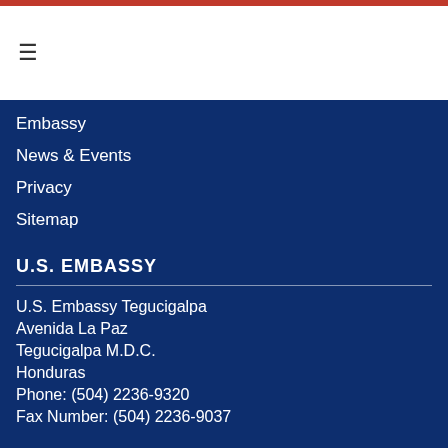☰
Embassy
News & Events
Privacy
Sitemap
U.S. EMBASSY
U.S. Embassy Tegucigalpa
Avenida La Paz
Tegucigalpa M.D.C.
Honduras
Phone: (504) 2236-9320
Fax Number: (504) 2236-9037